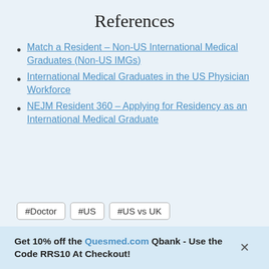References
Match a Resident – Non-US International Medical Graduates (Non-US IMGs)
International Medical Graduates in the US Physician Workforce
NEJM Resident 360 – Applying for Residency as an International Medical Graduate
#Doctor  #US  #US vs UK
Get 10% off the Quesmed.com Qbank - Use the Code RRS10 At Checkout!